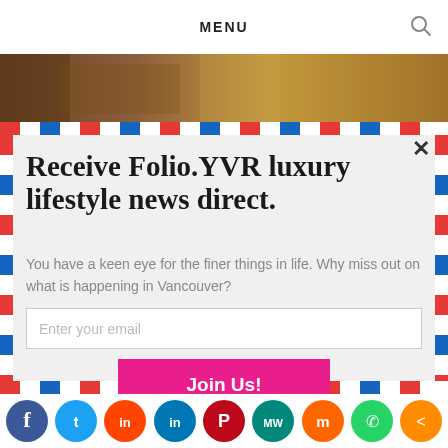MENU
[Figure (photo): Photo strip showing wooden surface in brown and golden tones]
Receive Folio.YVR luxury lifestyle news direct.
You have a keen eye for the finer things in life. Why miss out on what is happening in Vancouver?
Enter your email
Join Us!
[Figure (infographic): Social media icon bar: Facebook, Twitter, Reddit, LinkedIn, Pinterest, MW, Mix, WhatsApp, Share]